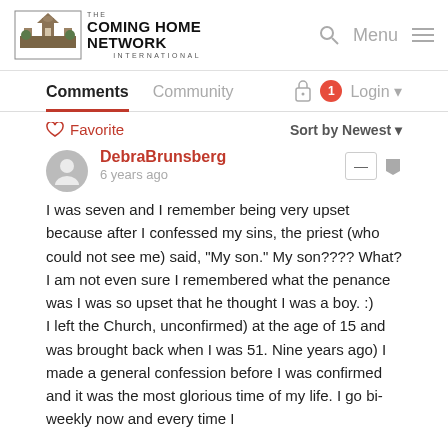[Figure (logo): The Coming Home Network International logo with building illustration]
The Coming Home Network International | Search | Menu
Comments | Community | Login
Favorite | Sort by Newest
DebraBrunsberg
6 years ago
I was seven and I remember being very upset because after I confessed my sins, the priest (who could not see me) said, "My son." My son???? What? I am not even sure I remembered what the penance was I was so upset that he thought I was a boy. :)
I left the Church, unconfirmed) at the age of 15 and was brought back when I was 51. Nine years ago) I made a general confession before I was confirmed and it was the most glorious time of my life. I go bi-weekly now and every time I